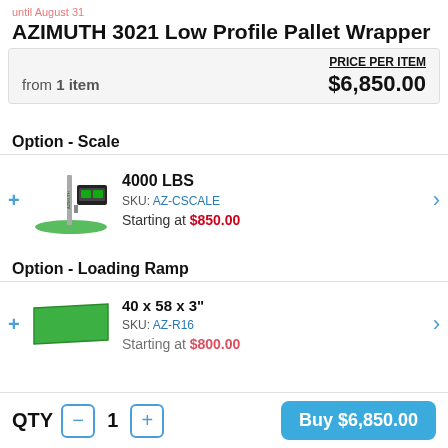until August 31
AZIMUTH 3021 Low Profile Pallet Wrapper
|  | PRICE PER ITEM |
| --- | --- |
| from 1 item | $6,850.00 |
Option - Scale
[Figure (photo): Pallet wrapper with scale unit showing green base and digital display]
4000 LBS
SKU: AZ-CSCALE
Starting at $850.00
Option - Loading Ramp
[Figure (photo): Green loading ramp accessory, flat rectangular shape]
40 x 58 x 3"
SKU: AZ-R16
Starting at $800.00
QTY  1  Buy $6,850.00